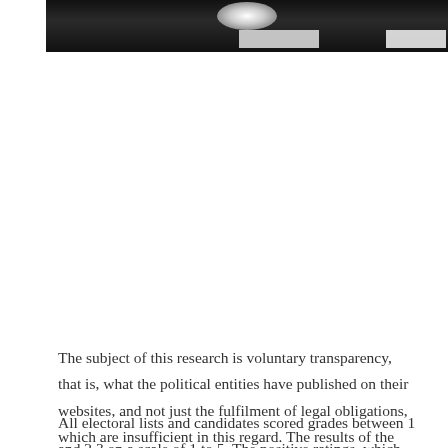[Figure (photo): Dark photograph of what appears to be a conference or event venue with a bright overhead light and signage visible at the bottom]
The subject of this research is voluntary transparency, that is, what the political entities have published on their websites, and not just the fulfilment of legal obligations, which are insufficient in this regard. The results of the monitoring was presented at the press conference by Nemanja Nenadic and Zlatko Minic.
All electoral lists and candidates scored grades between 1 and 2.3 on a scale of 1 to 5. The positive ratings, which raised the average of